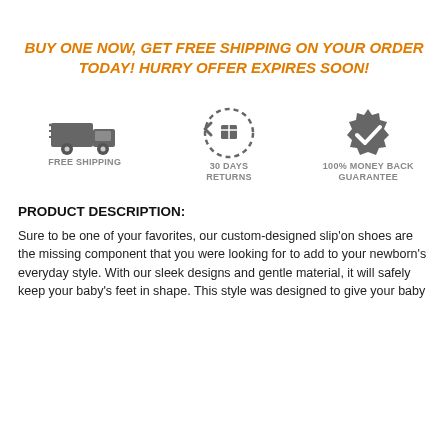BUY ONE NOW, GET FREE SHIPPING ON YOUR ORDER TODAY! HURRY OFFER EXPIRES SOON!
[Figure (infographic): Three icons in a row: a delivery truck (FREE SHIPPING), a circular return arrow with package (30 DAYS RETURNS), and a checkmark badge (100% MONEY BACK GUARANTEE)]
PRODUCT DESCRIPTION:
Sure to be one of your favorites, our custom-designed slip'on shoes are the missing component that you were looking for to add to your newborn's everyday style. With our sleek designs and gentle material, it will safely keep your baby's feet in shape. This style was designed to give your baby...